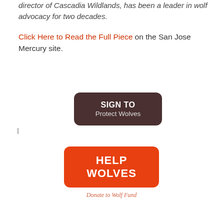director of Cascadia Wildlands, has been a leader in wolf advocacy for two decades.
Click Here to Read the Full Piece on the San Jose Mercury site.
[Figure (other): Dark brown rounded rectangle button with text 'SIGN TO Protect Wolves']
[Figure (other): Orange rounded rectangle button with text 'HELP WOLVES']
Donate to Wolf Fund